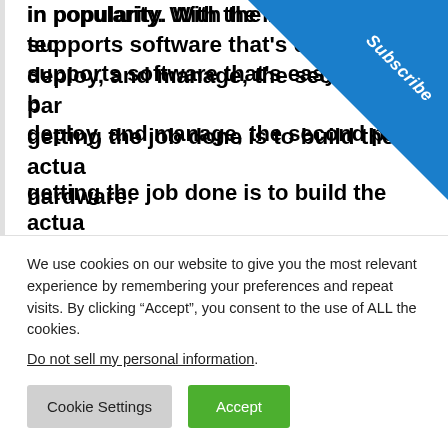in popularity. With the latest technology that supports software that's easy to build, deploy, and manage, the second part of getting the job done is to build the actual hardware.
[Figure (other): Blue triangular Subscribe banner in the top-right corner of the page]
One of the important issues of wire winding is solved with the help of slip rings, but there's so much more to what slip rings are capable of and how they can help modern robotics and
We use cookies on our website to give you the most relevant experience by remembering your preferences and repeat visits. By clicking “Accept”, you consent to the use of ALL the cookies.
Do not sell my personal information.